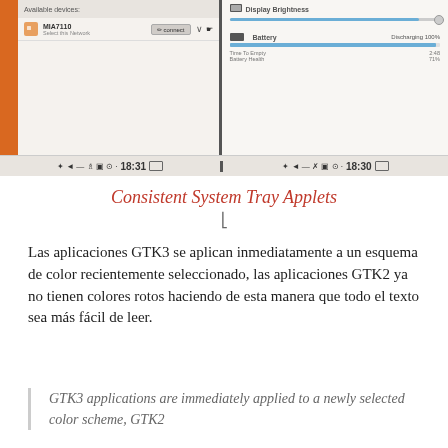[Figure (screenshot): Two side-by-side Android/desktop screenshots: left shows a network manager with 'Available devices' and a device listed with a Connect button, status bar showing 18:31; right shows Display Brightness slider and Battery (Discharging 100%) panel, status bar showing 18:30.]
Consistent System Tray Applets
Las aplicaciones GTK3 se aplican inmediatamente a un esquema de color recientemente seleccionado, las aplicaciones GTK2 ya no tienen colores rotos haciendo de esta manera que todo el texto sea más fácil de leer.
GTK3 applications are immediately applied to a newly selected color scheme, GTK2